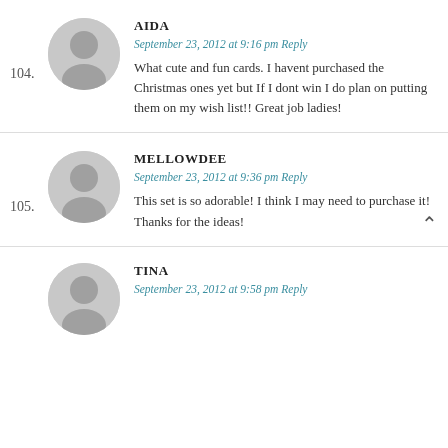104. AIDA — September 23, 2012 at 9:16 pm Reply — What cute and fun cards. I havent purchased the Christmas ones yet but If I dont win I do plan on putting them on my wish list!! Great job ladies!
105. MELLOWDEE — September 23, 2012 at 9:36 pm Reply — This set is so adorable! I think I may need to purchase it! Thanks for the ideas!
TINA — September 23, 2012 at 9:58 pm Reply